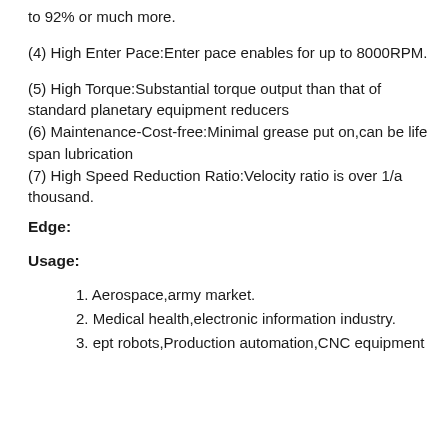to 92% or much more.
(4) High Enter Pace:Enter pace enables for up to 8000RPM.
(5) High Torque:Substantial torque output than that of standard planetary equipment reducers
(6) Maintenance-Cost-free:Minimal grease put on,can be life span lubrication
(7) High Speed Reduction Ratio:Velocity ratio is over 1/a thousand.
Edge:
Usage:
1. Aerospace,army market.
2. Medical health,electronic information industry.
3. ept robots,Production automation,CNC equipment